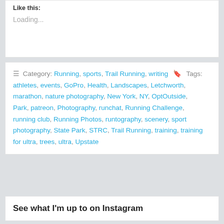Like this:
Loading...
Category: Running, sports, Trail Running, writing   Tags: athletes, events, GoPro, Health, Landscapes, Letchworth, marathon, nature photography, New York, NY, OptOutside, Park, patreon, Photography, runchat, Running Challenge, running club, Running Photos, runtography, scenery, sport photography, State Park, STRC, Trail Running, training, training for ultra, trees, ultra, Upstate
1  2  »
See what I'm up to on Instagram